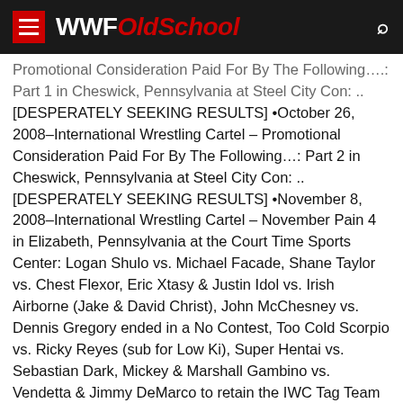WWFOldSchool
Promotional Consideration Paid For By The Following….: Part 1 in Cheswick, Pennsylvania at Steel City Con: .. [DESPERATELY SEEKING RESULTS] •October 26, 2008–International Wrestling Cartel – Promotional Consideration Paid For By The Following…: Part 2 in Cheswick, Pennsylvania at Steel City Con: .. [DESPERATELY SEEKING RESULTS] •November 8, 2008–International Wrestling Cartel – November Pain 4 in Elizabeth, Pennsylvania at the Court Time Sports Center: Logan Shulo vs. Michael Facade, Shane Taylor vs. Chest Flexor, Eric Xtasy & Justin Idol vs. Irish Airborne (Jake & David Christ), John McChesney vs. Dennis Gregory ended in a No Contest, Too Cold Scorpio vs. Ricky Reyes (sub for Low Ki), Super Hentai vs. Sebastian Dark, Mickey & Marshall Gambino vs. Vendetta & Jimmy DeMarco to retain the IWC Tag Team titles, Shiima Xion vs. Raymond Rowe to retain the IWC Heavyweight title. [reported by www.IWCwrestling.com]